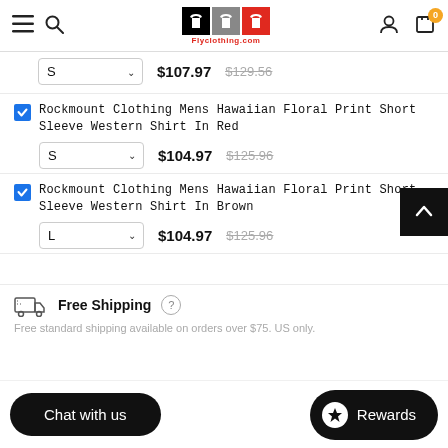Flyclothing.com - navigation header with hamburger menu, search, logo, user icon, cart (0)
S  $107.97  $129.56
Rockmount Clothing Mens Hawaiian Floral Print Short Sleeve Western Shirt In Red
S  $104.97  $125.96
Rockmount Clothing Mens Hawaiian Floral Print Short Sleeve Western Shirt In Brown
L  $104.97  $125.96
Free Shipping  Free standard shipping available on orders over $75. US only.
Chat with us    Rewards